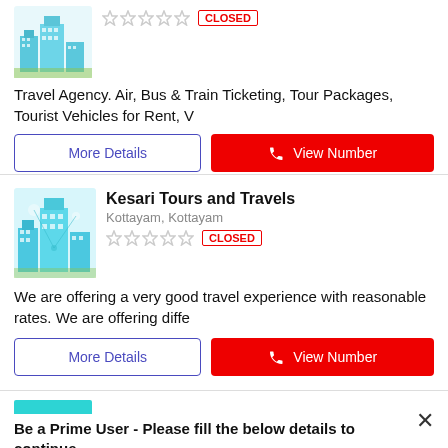[Figure (illustration): City/travel illustration with buildings and landmarks]
Travel Agency. Air, Bus & Train Ticketing, Tour Packages, Tourist Vehicles for Rent, V
More Details
View Number
[Figure (illustration): City/travel illustration with buildings and digital network]
Kesari Tours and Travels
Kottayam, Kottayam
CLOSED
We are offering a very good travel experience with reasonable rates. We are offering diffe
More Details
View Number
Be a Prime User - Please fill the below details to continue